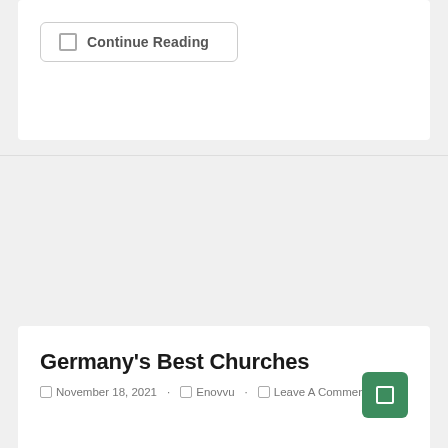Continue Reading
Germany's Best Churches
November 18, 2021   Enovvu   Leave A Comment